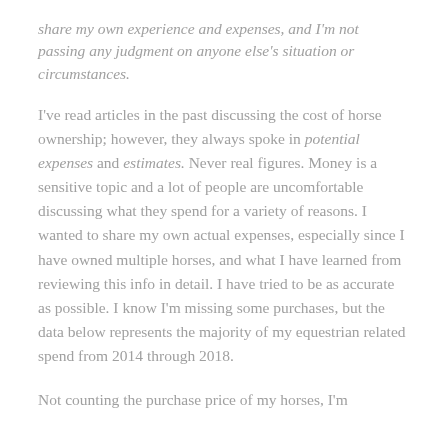share my own experience and expenses, and I'm not passing any judgment on anyone else's situation or circumstances.
I've read articles in the past discussing the cost of horse ownership; however, they always spoke in potential expenses and estimates. Never real figures. Money is a sensitive topic and a lot of people are uncomfortable discussing what they spend for a variety of reasons. I wanted to share my own actual expenses, especially since I have owned multiple horses, and what I have learned from reviewing this info in detail. I have tried to be as accurate as possible. I know I'm missing some purchases, but the data below represents the majority of my equestrian related spend from 2014 through 2018.
Not counting the purchase price of my horses, I'm